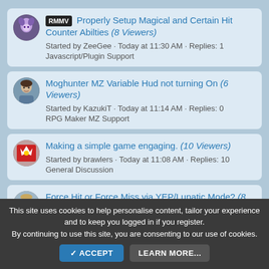RMMV Properly Setup Magical and Certain Hit Counter Abilties (8 Viewers) Started by ZeeGee · Today at 11:30 AM · Replies: 1 Javascript/Plugin Support
Moghunter MZ Variable Hud not turning On (6 Viewers) Started by KazukiT · Today at 11:14 AM · Replies: 0 RPG Maker MZ Support
Making a simple game engaging. (10 Viewers) Started by brawlers · Today at 11:08 AM · Replies: 10 General Discussion
Force Hit or Force Miss via YEP/Lunatic Mode? (8 Viewers)
This site uses cookies to help personalise content, tailor your experience and to keep you logged in if you register. By continuing to use this site, you are consenting to our use of cookies.